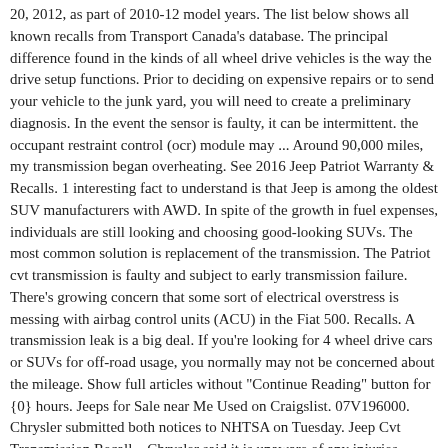20, 2012, as part of 2010-12 model years. The list below shows all known recalls from Transport Canada's database. The principal difference found in the kinds of all wheel drive vehicles is the way the drive setup functions. Prior to deciding on expensive repairs or to send your vehicle to the junk yard, you will need to create a preliminary diagnosis. In the event the sensor is faulty, it can be intermittent. the occupant restraint control (ocr) module may ... Around 90,000 miles, my transmission began overheating. See 2016 Jeep Patriot Warranty & Recalls. 1 interesting fact to understand is that Jeep is among the oldest SUV manufacturers with AWD. In spite of the growth in fuel expenses, individuals are still looking and choosing good-looking SUVs. The most common solution is replacement of the transmission. The Patriot cvt transmission is faulty and subject to early transmission failure. There's growing concern that some sort of electrical overstress is messing with airbag control units (ACU) in the Fiat 500. Recalls. A transmission leak is a big deal. If you're looking for 4 wheel drive cars or SUVs for off-road usage, you normally may not be concerned about the mileage. Show full articles without "Continue Reading" button for {0} hours. Jeeps for Sale near Me Used on Craigslist. 07V196000. Chrysler submitted both notices to NHTSA on Tuesday. Jeep Cvt Transmission Recall – Chrysler said it is unaware of any injuries regarding the transmission and restraint system issues. Old Chevy 4×4 Trucks for SaleJeep Compass Trailhawk DeutschlandJeeps for Sale near Me Used on Craigslist. Models. Around 95,000 Jeep Cherokees are being recalled